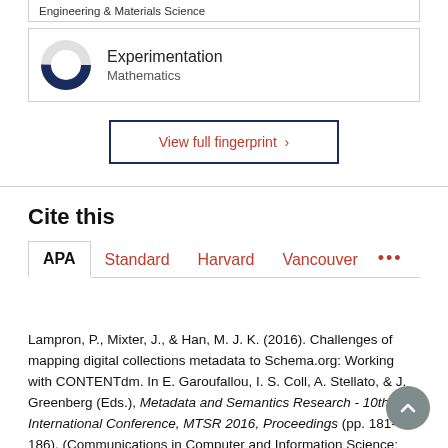Engineering & Materials Science
[Figure (donut-chart): Partial donut/pie chart showing proportion for Experimentation category, approximately 75% filled in dark navy blue]
Experimentation
Mathematics
View full fingerprint ›
Cite this
APA  Standard  Harvard  Vancouver  ...
Lampron, P., Mixter, J., & Han, M. J. K. (2016). Challenges of mapping digital collections metadata to Schema.org: Working with CONTENTdm. In E. Garoufallou, I. S. Coll, A. Stellato, & J. Greenberg (Eds.), Metadata and Semantics Research - 10th International Conference, MTSR 2016, Proceedings (pp. 181-186). (Communications in Computer and Information Science; Vol. 672). Springer. https://doi.org/10.1007/978-3-319-49157-8_15